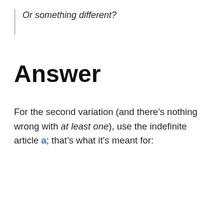Or something different?
Answer
For the second variation (and there’s nothing wrong with at least one), use the indefinite article a; that’s what it’s meant for: